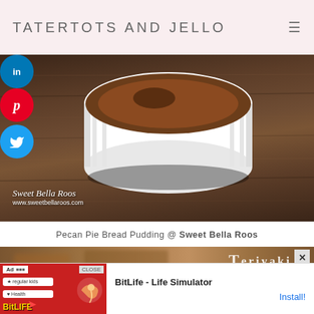TATERTOTS AND JELLO
[Figure (photo): Photo of a white ramekin dish with pecan pie bread pudding on a wooden table background, with social media share buttons (LinkedIn, Pinterest, Twitter) on the left side. Watermark reads 'Sweet Bella Roos' and 'www.sweetbellaroos.com']
Pecan Pie Bread Pudding @ Sweet Bella Roos
[Figure (photo): Partial photo showing 'Teriyaki Mushrooms' text overlay on a blurred food background]
[Figure (photo): Advertisement banner for BitLife - Life Simulator app with 'Ad' label and Install button]